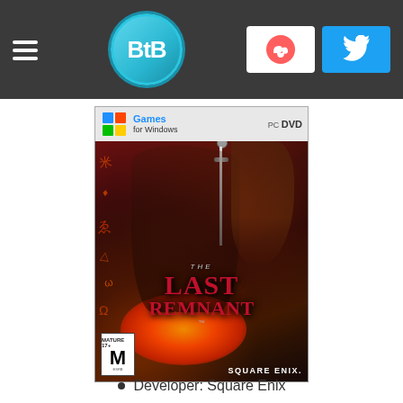BtB — navigation header with hamburger menu, BtB logo, Ko-fi button, Twitter button
[Figure (photo): PC DVD box art for 'The Last Remnant' by Square Enix, showing a dark-haired warrior with a sword, fire and rune symbols, with 'Games for Windows' label at top and ESRB M rating at bottom left.]
Developer: Square Enix